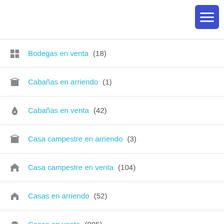[Figure (other): Hamburger menu button (three horizontal lines) in blue/indigo square, top right corner]
Bodegas en venta (18)
Cabañas en arriendo (1)
Cabañas en venta (42)
Casa campestre en arriendo (3)
Casa campestre en venta (104)
Casas en arriendo (52)
Casas en venta (985)
Edificio (28)
Fincas en arriendo (1)
Fincas en venta (92)
Habitación (?)